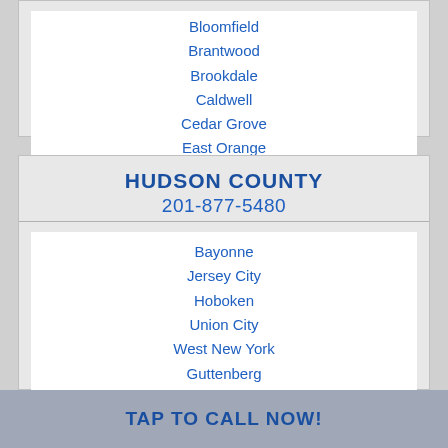Bloomfield
Brantwood
Brookdale
Caldwell
Cedar Grove
East Orange
Essex Fells
HUDSON COUNTY
201-877-5480
Bayonne
Jersey City
Hoboken
Union City
West New York
Guttenberg
Secaucus
Kearny
Harrison
East Newark
TAP TO CALL NOW!